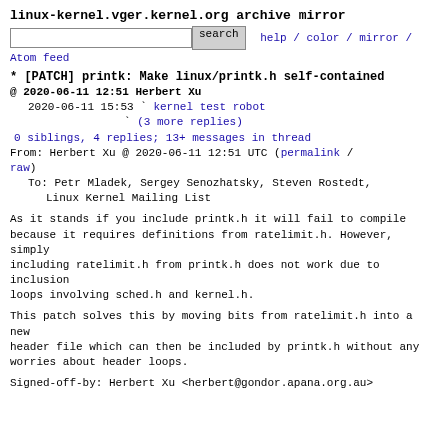linux-kernel.vger.kernel.org archive mirror
search  help / color / mirror /
Atom feed
* [PATCH] printk: Make linux/printk.h self-contained
@ 2020-06-11 12:51 Herbert Xu
  2020-06-11 15:53 ` kernel test robot
                   ` (3 more replies)
  0 siblings, 4 replies; 13+ messages in thread
From: Herbert Xu @ 2020-06-11 12:51 UTC (permalink /
raw)
  To: Petr Mladek, Sergey Senozhatsky, Steven Rostedt,
       Linux Kernel Mailing List
As it stands if you include printk.h it will fail to compile
because it requires definitions from ratelimit.h. However, simply
including ratelimit.h from printk.h does not work due to inclusion
loops involving sched.h and kernel.h.
This patch solves this by moving bits from ratelimit.h into a new
header file which can then be included by printk.h without any
worries about header loops.
Signed-off-by: Herbert Xu <herbert@gondor.apana.org.au>